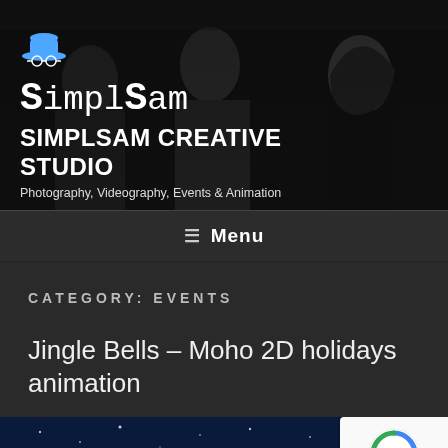[Figure (photo): Black and white hero photo of three women at an event, with SimplSam Creative Studio branding overlay including logo icon, stylized text logo 'SimplSam', bold title 'SIMPLSAM CREATIVE STUDIO', and tagline 'Photography, Videography, Events & Animation']
SIMPLSAM CREATIVE STUDIO
Photography, Videography, Events & Animation
≡ Menu
CATEGORY: EVENTS
Jingle Bells – Moho 2D holidays animation
[Figure (screenshot): Dark blue thumbnail image for the Jingle Bells Moho 2D holidays animation post, showing snow and night sky scene]
[Figure (logo): Google reCAPTCHA badge with circular arrow icon and Privacy/Terms links]